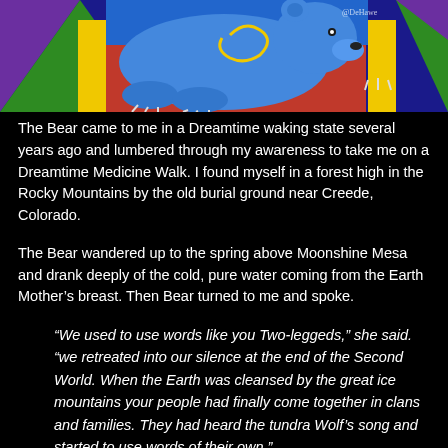[Figure (illustration): Colorful folk-art style painting of a bear in blues and greens with geometric patterns, yellow spiral designs, against a background of bright colors (blue, green, red, purple, yellow). Watermark/signature visible: @DeHawe.]
The Bear came to me in a Dreamtime waking state several years ago and lumbered through my awareness to take me on a Dreamtime Medicine Walk. I found myself in a forest high in the Rocky Mountains by the old burial ground near Creede, Colorado.
The Bear wandered up to the spring above Moonshine Mesa and drank deeply of the cold, pure water coming from the Earth Mother’s breast. Then Bear turned to me and spoke.
“We used to use words like you Two-leggeds,” she said. “we retreated into our silence at the end of the Second World. When the Earth was cleansed by the great ice mountains your people had finally come together in clans and families. They had heard the tundra Wolf’s song and started to use words of their own.”
“We knew that you humans would not be alone and that